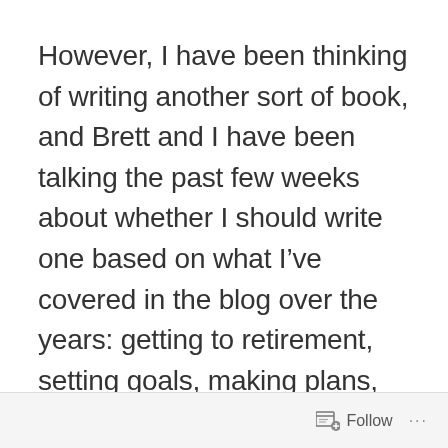However, I have been thinking of writing another sort of book, and Brett and I have been talking the past few weeks about whether I should write one based on what I've covered in the blog over the years: getting to retirement, setting goals, making plans, traveling, and making our dreams come true on a not very big income. I enjoy writing, and it's not like I'd have to invent the wheel or anything, mostly pull things
Follow ···